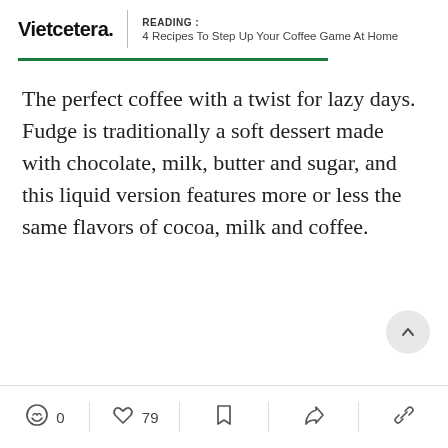Vietcetera. | READING : 4 Recipes To Step Up Your Coffee Game At Home
The perfect coffee with a twist for lazy days. Fudge is traditionally a soft dessert made with chocolate, milk, butter and sugar, and this liquid version features more or less the same flavors of cocoa, milk and coffee.
0 comments | 79 likes | bookmark | facebook | share link